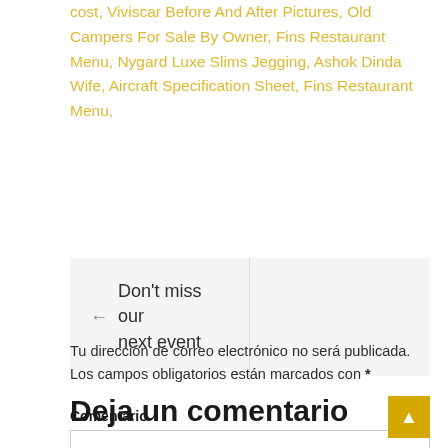cost, Viviscar Before And After Pictures, Old Campers For Sale By Owner, Fins Restaurant Menu, Nygard Luxe Slims Jegging, Ashok Dinda Wife, Aircraft Specification Sheet, Fins Restaurant Menu,
← Don't miss our next event
Deja un comentario
Tu dirección de correo electrónico no será publicada. Los campos obligatorios están marcados con *
Comentario